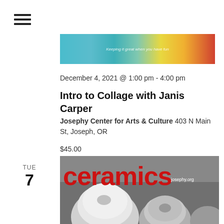[Figure (illustration): Hamburger menu icon (three horizontal lines)]
[Figure (photo): Colorful collage artwork banner image with teal, yellow, and red tones, with partial text 'Keeping it great when you have fun']
December 4, 2021 @ 1:00 pm - 4:00 pm
Intro to Collage with Janis Carper
Josephy Center for Arts & Culture 403 N Main St, Joseph, OR
$45.00
TUE 7
[Figure (photo): Ceramics event promotional image showing 'ceramics' in large red text over a black and white photo of pottery/ceramic vessels, with josephy.org watermark]